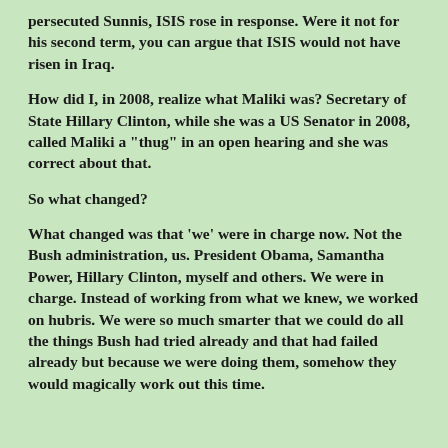persecuted Sunnis, ISIS rose in response.  Were it not for his second term, you can argue that ISIS would not have risen in Iraq.
How did I, in 2008, realize what Maliki was?  Secretary of State Hillary Clinton, while she was a US Senator in 2008, called Maliki a "thug" in an open hearing and she was correct about that.
So what changed?
What changed was that 'we' were in charge now.  Not the Bush administration, us.  President Obama, Samantha Power, Hillary Clinton, myself and others.  We were in charge.  Instead of working from what we knew, we worked on hubris.  We were so much smarter that we could do all the things Bush had tried already and that had failed already but because we were doing them, somehow they would magically work out this time.